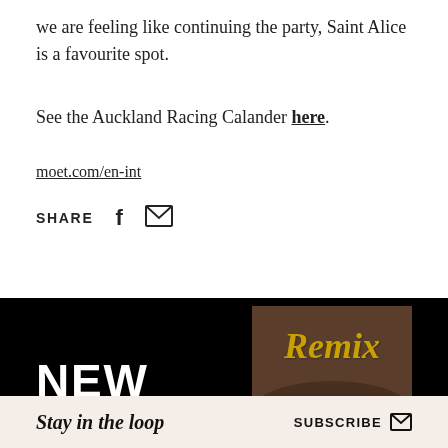we are feeling like continuing the party, Saint Alice is a favourite spot.
See the Auckland Racing Calander here.
moet.com/en-int
SHARE
[Figure (photo): Magazine advertisement banner with 'NEW' text on black background and Remix magazine cover showing woman's face with golden cursive Remix logo]
Stay in the loop   SUBSCRIBE